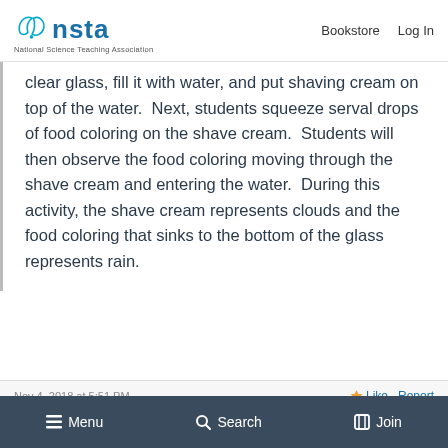nsta — National Science Teaching Association | Bookstore | Log In
clear glass, fill it with water, and put shaving cream on top of the water. Next, students squeeze serval drops of food coloring on the shave cream. Students will then observe the food coloring moving through the shave cream and entering the water. During this activity, the shave cream represents clouds and the food coloring that sinks to the bottom of the glass represents rain.
Nov 4, 2018 at 5:51 PM
Menu | Search | Join